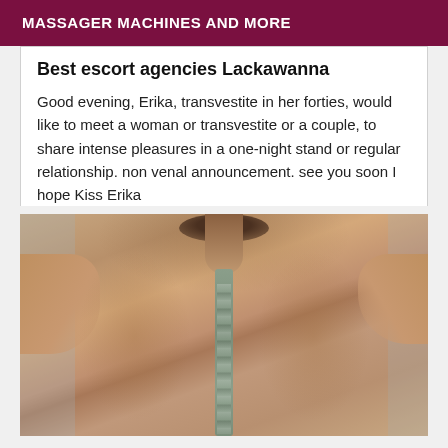MASSAGER MACHINES AND MORE
Best escort agencies Lackawanna
Good evening, Erika, transvestite in her forties, would like to meet a woman or transvestite or a couple, to share intense pleasures in a one-night stand or regular relationship. non venal announcement. see you soon I hope Kiss Erika
[Figure (photo): Close-up photo of a person's back, showing neck and shoulders, wearing a patterned racerback swimsuit or top. The image is cropped to show the upper back from behind.]